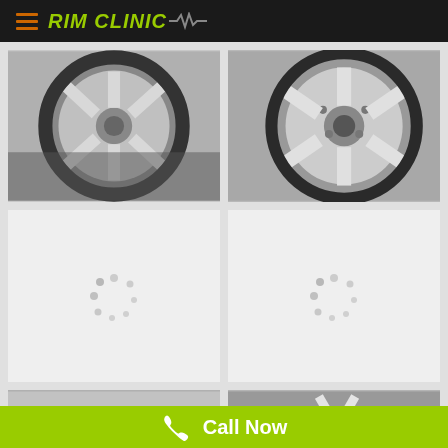RIM CLINIC
[Figure (photo): Close-up photo of a silver 5-spoke alloy wheel with tire, viewed from angle]
[Figure (photo): Close-up photo of a silver multi-spoke alloy wheel showing spokes and lug nuts]
[Figure (photo): Loading spinner placeholder image (gray background with circular dot loader)]
[Figure (photo): Loading spinner placeholder image (gray background with circular dot loader)]
[Figure (photo): Photo of a silver multi-spoke alloy wheel on a car, partial view]
[Figure (photo): Photo of a silver multi-spoke alloy wheel close-up showing rim detail]
Call Now